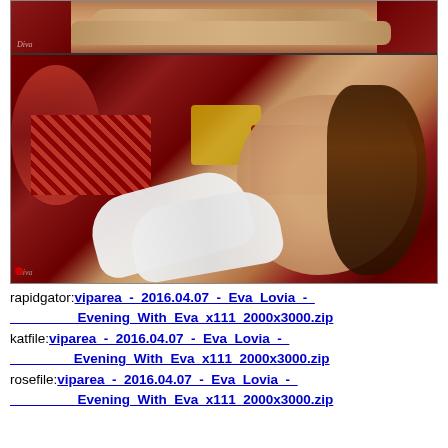[Figure (photo): Two photographs of a woman. Top strip shows legs on a red patterned surface. Main photo shows a brunette woman posing on a red ornate surface with pillows, wearing white stockings.]
rapidgator:viparea_-_2016.04.07_-_Eva_Lovia_-_Evening_With_Eva_x111_2000x3000.zip
katfile:viparea_-_2016.04.07_-_Eva_Lovia_-_Evening_With_Eva_x111_2000x3000.zip
rosefile:viparea_-_2016.04.07_-_Eva_Lovia_-_Evening_With_Eva_x111_2000x3000.zip